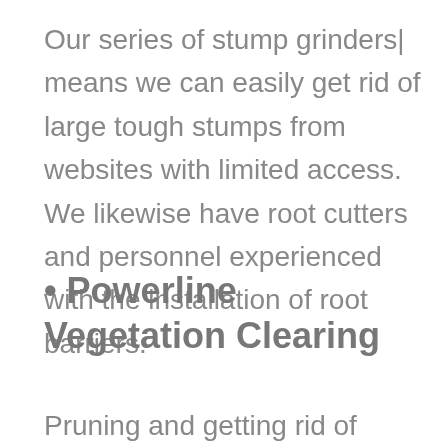Our series of stump grinders| means we can easily get rid of large tough stumps from websites with limited access. We likewise have root cutters and personnel experienced with the installation of root barriers.
• Powerline Vegetation Clearing
Pruning and getting rid of trees to